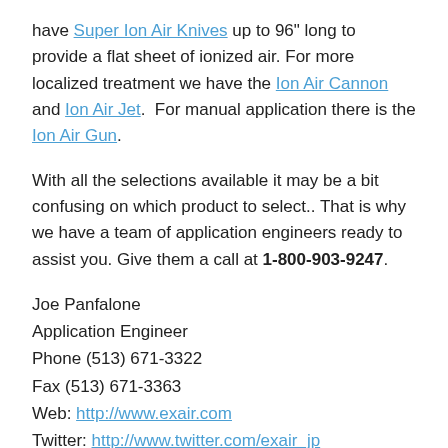have Super Ion Air Knives up to 96" long to provide a flat sheet of ionized air. For more localized treatment we have the Ion Air Cannon and Ion Air Jet.  For manual application there is the Ion Air Gun.
With all the selections available it may be a bit confusing on which product to select.. That is why we have a team of application engineers ready to assist you. Give them a call at 1-800-903-9247.
Joe Panfalone
Application Engineer
Phone (513) 671-3322
Fax (513) 671-3363
Web: http://www.exair.com
Twitter: http://www.twitter.com/exair_jp
Facebook: http://www.facebook.com/exair